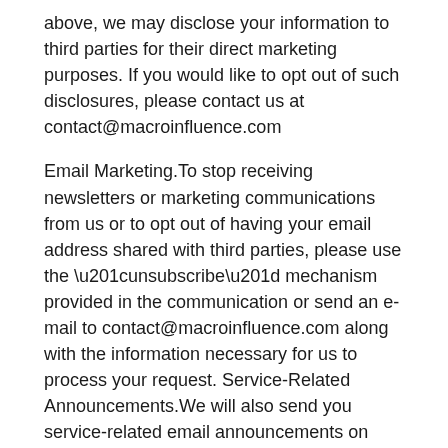above, we may disclose your information to third parties for their direct marketing purposes. If you would like to opt out of such disclosures, please contact us at contact@macroinfluence.com
Email Marketing.To stop receiving newsletters or marketing communications from us or to opt out of having your email address shared with third parties, please use the “unsubscribe” mechanism provided in the communication or send an e-mail to contact@macroinfluence.com along with the information necessary for us to process your request. Service-Related Announcements.We will also send you service-related email announcements on rare occasions when it is necessary to do so. For instance, if our service is temporarily suspended for maintenance, we might send you an email. You do not have an option to opt out of these emails, which are not promotional in nature.